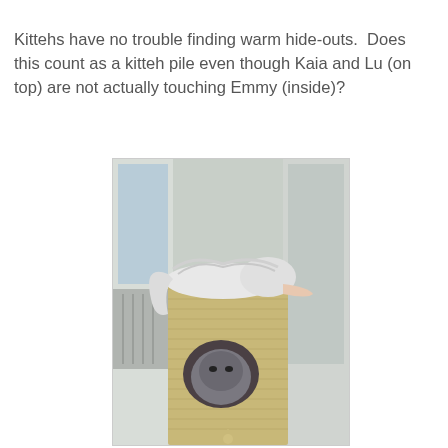Kittehs have no trouble finding warm hide-outs.  Does this count as a kitteh pile even though Kaia and Lu (on top) are not actually touching Emmy (inside)?
[Figure (photo): A white fluffy cat lying on top of a beige sisal cat scratching post/hideout cube, with a gray cat's face visible peeking out from the circular opening in the front of the cube. The scene is near a window with natural light.]